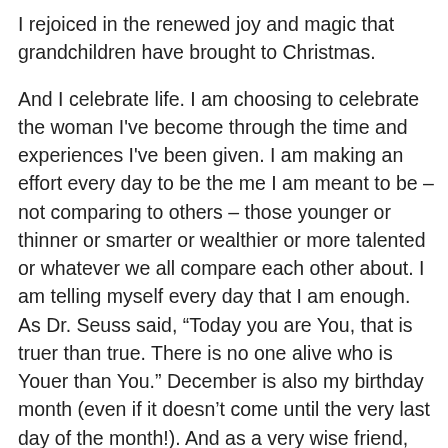I rejoiced in the renewed joy and magic that grandchildren have brought to Christmas.
And I celebrate life.  I am choosing to celebrate the woman I've become through the time and experiences I've been given.   I am making an effort every day to be the me I am meant to be – not comparing to others – those younger or thinner or smarter or wealthier or more talented or whatever we all compare each other about.  I am telling myself every day that I am enough.  As Dr. Seuss said, “Today you are You, that is truer than true.  There is no one alive who is Youer than You.”  December is also my birthday month (even if it doesn’t come until the very last day of the month!).  And as a very wise friend, who faced and battled cancer years ago once told me when I said I don't want to celebrate birthdays any more as I get older…